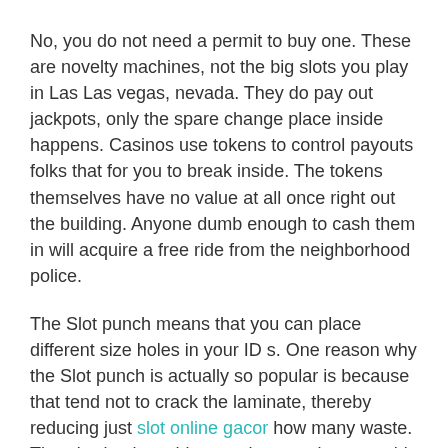No, you do not need a permit to buy one. These are novelty machines, not the big slots you play in Las Las vegas, nevada. They do pay out jackpots, only the spare change place inside happens. Casinos use tokens to control payouts folks that for you to break inside. The tokens themselves have no value at all once right out the building. Anyone dumb enough to cash them in will acquire a free ride from the neighborhood police.
The Slot punch means that you can place different size holes in your ID s. One reason why the Slot punch is actually so popular is because that tend not to crack the laminate, thereby reducing just slot online gacor how many waste. There's simply nothing you have tool you would like to use that works so effectively and well. Let's not forget just how affordable is certainly too.
Online Gambling was the upgraded kind of the